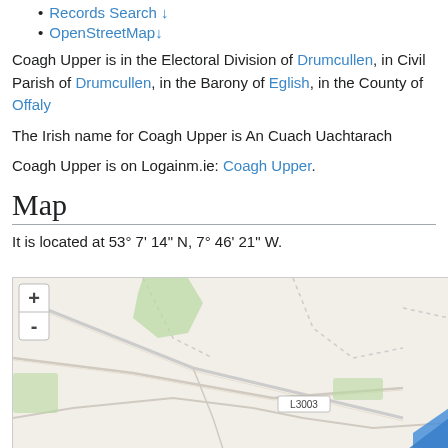Records Search ↓
OpenStreetMap↓
Coagh Upper is in the Electoral Division of Drumcullen, in Civil Parish of Drumcullen, in the Barony of Eglish, in the County of Offaly
The Irish name for Coagh Upper is An Cuach Uachtarach
Coagh Upper is on Logainm.ie: Coagh Upper.
Map
It is located at 53° 7' 14" N, 7° 46' 21" W.
[Figure (map): OpenStreetMap showing the area around Coagh Upper, County Offaly, Ireland. Shows road network including road L3003, green areas, and a zoom control (+/-) button. A blue marker/shape is visible at the bottom right corner.]